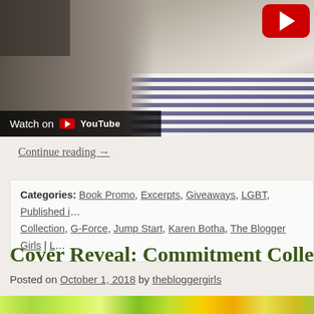[Figure (screenshot): YouTube video thumbnail showing a woman in a striped shirt with a YouTube play button overlay and 'Watch on YouTube' bar at the bottom]
Continue reading →
Categories: Book Promo, Excerpts, Giveaways, LGBT, Published in… Collection, G-Force, Jump Start, Karen Botha, The Blogger Girls | L…
Cover Reveal: Commitment Collectio…
Posted on October 1, 2018 by thebloggergirls
[Figure (illustration): Partial book cover image with colorful flowers (sunflowers, green and yellow) at the bottom of the page]